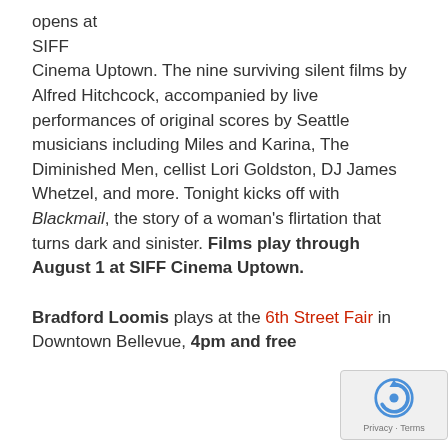opens at SIFF Cinema Uptown. The nine surviving silent films by Alfred Hitchcock, accompanied by live performances of original scores by Seattle musicians including Miles and Karina, The Diminished Men, cellist Lori Goldston, DJ James Whetzel, and more. Tonight kicks off with Blackmail, the story of a woman's flirtation that turns dark and sinister. Films play through August 1 at SIFF Cinema Uptown.

Bradford Loomis plays at the 6th Street Fair in Downtown Bellevue, 4pm and free
[Figure (logo): reCAPTCHA privacy badge with blue arrow-circle logo and Privacy - Terms text]